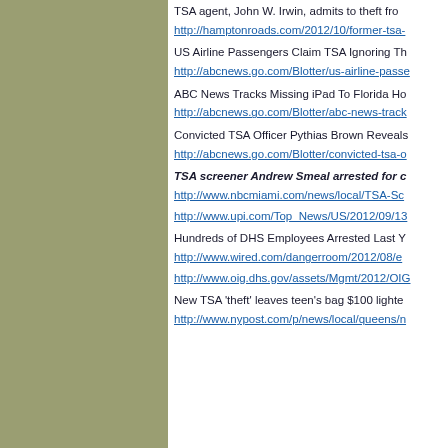TSA agent, John W. Irwin, admits to theft fro…
http://hamptonroads.com/2012/10/former-tsa-…
US Airline Passengers Claim TSA Ignoring Th…
http://abcnews.go.com/Blotter/us-airline-pass…
ABC News Tracks Missing iPad To Florida Ho…
http://abcnews.go.com/Blotter/abc-news-track…
Convicted TSA Officer Pythias Brown Reveals…
http://abcnews.go.com/Blotter/convicted-tsa-o…
TSA screener Andrew Smeal arrested for c…
http://www.nbcmiami.com/news/local/TSA-Sc…
http://www.upi.com/Top_News/US/2012/09/13…
Hundreds of DHS Employees Arrested Last Y…
http://www.wired.com/dangerroom/2012/08/e…
http://www.oig.dhs.gov/assets/Mgmt/2012/OIG…
New TSA 'theft' leaves teen's bag $100 lighte…
http://www.nypost.com/p/news/local/queens/n…